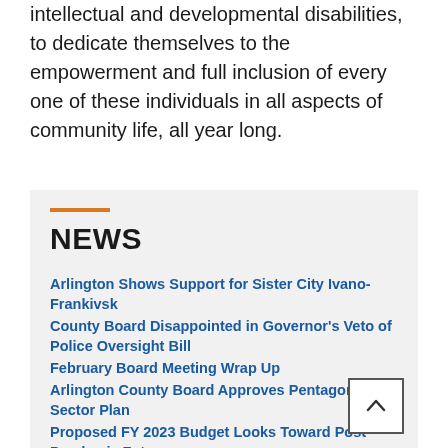intellectual and developmental disabilities, to dedicate themselves to the empowerment and full inclusion of every one of these individuals in all aspects of community life, all year long.
NEWS
Arlington Shows Support for Sister City Ivano-Frankivsk
County Board Disappointed in Governor's Veto of Police Oversight Bill
February Board Meeting Wrap Up
Arlington County Board Approves Pentagon City Sector Plan
Proposed FY 2023 Budget Looks Toward Post-Pandemic Future